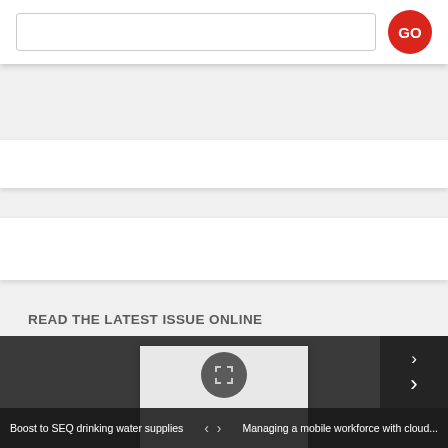[Figure (screenshot): Search bar with text input field and red circular GO button]
READ THE LATEST ISSUE ONLINE
[Figure (screenshot): Online magazine flipbook viewer with dark background, white magazine page thumbnail, fullscreen button, and next arrow. Navigation bar at bottom shows: Boost to SEQ drinking water supplies | < > | Managing a mobile workforce with cloud...]